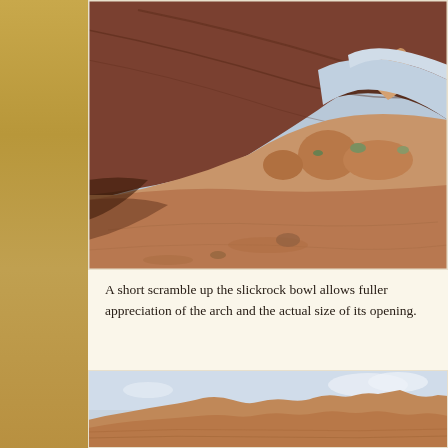[Figure (photo): View from inside a large sandstone arch or cave opening looking outward toward a desert landscape with red rock formations, boulders, sparse vegetation, and blue sky. The arch ceiling sweeps dramatically from upper left. Sandy red slickrock floor in foreground.]
A short scramble up the slickrock bowl allows fuller appreciation of the arch and the actual size of its opening.
[Figure (photo): Exterior view of red sandstone rock formations against a pale blue sky, showing layered slickrock terrain typical of Arches National Park area.]